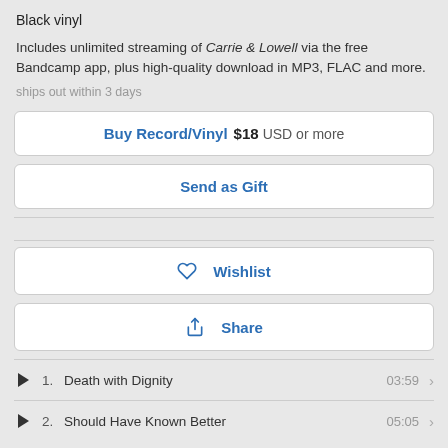Black vinyl
Includes unlimited streaming of Carrie & Lowell via the free Bandcamp app, plus high-quality download in MP3, FLAC and more.
ships out within 3 days
Buy Record/Vinyl  $18  USD or more
Send as Gift
Wishlist
Share
1.   Death with Dignity   03:59
2.   Should Have Known Better   05:05